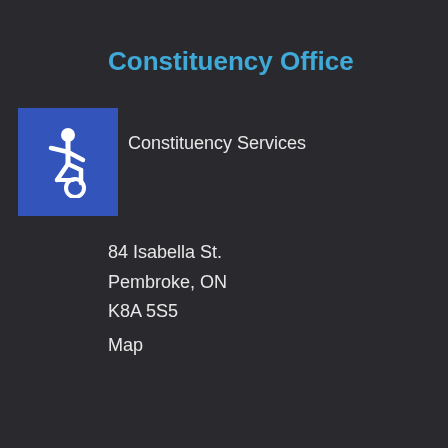Constituency Office
[Figure (illustration): Blue square with white wheelchair accessibility icon]
Constituency Services
84 Isabella St.
Pembroke, ON
K8A 5S5
Map
Constituency Phone: 613-732-4404
Hours: 10am – 4pm Monday to Friday